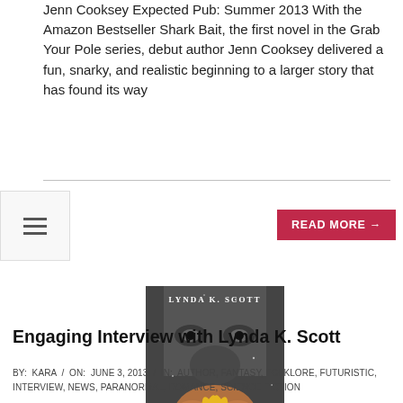Jenn Cooksey Expected Pub: Summer 2013 With the Amazon Bestseller Shark Bait, the first novel in the Grab Your Pole series, debut author Jenn Cooksey delivered a fun, snarky, and realistic beginning to a larger story that has found its way
[Figure (other): Navigation hamburger menu icon (three horizontal lines) in a white/light box]
READ MORE →
[Figure (illustration): Book cover for 'Heartstone' by Lynda K. Scott, featuring a wolf face at the top and hands holding a golden heart shape, with stylized title text at the bottom.]
Engaging Interview with Lynda K. Scott
BY: KARA / ON: JUNE 3, 2013 / IN: AUTHOR, FANTASY, FOLKLORE, FUTURISTIC, INTERVIEW, NEWS, PARANORMAL, ROMANCE, SCIENCE FICTION